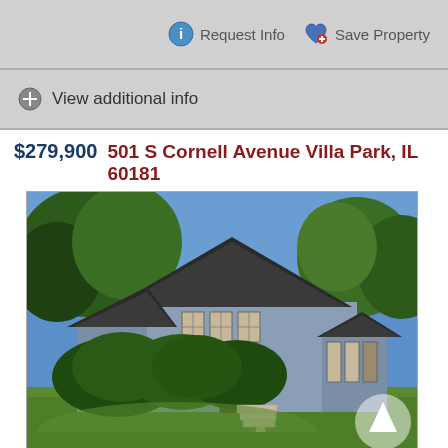Request Info
Save Property
View additional info
$279,900  501 S Cornell Avenue Villa Park, IL 60181
[Figure (photo): Exterior photo of a single-family home at 501 S Cornell Avenue, Villa Park, IL 60181. The house has a dark shingled roof, light blue/grey siding, large shrubs in front, a front porch, steps leading to the entrance, and a curved concrete walkway across a green lawn. Trees visible in background against a blue sky.]